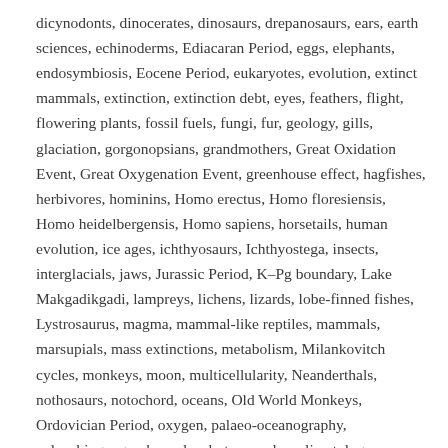dicynodonts, dinocerates, dinosaurs, drepanosaurs, ears, earth sciences, echinoderms, Ediacaran Period, eggs, elephants, endosymbiosis, Eocene Period, eukaryotes, evolution, extinct mammals, extinction, extinction debt, eyes, feathers, flight, flowering plants, fossil fuels, fungi, fur, geology, gills, glaciation, gorgonopsians, grandmothers, Great Oxidation Event, Great Oxygenation Event, greenhouse effect, hagfishes, herbivores, hominins, Homo erectus, Homo floresiensis, Homo heidelbergensis, Homo sapiens, horsetails, human evolution, ice ages, ichthyosaurs, Ichthyostega, insects, interglacials, jaws, Jurassic Period, K–Pg boundary, Lake Makgadikgadi, lampreys, lichens, lizards, lobe-finned fishes, Lystrosaurus, magma, mammal-like reptiles, mammals, marsupials, mass extinctions, metabolism, Milankovitch cycles, monkeys, moon, multicellularity, Neanderthals, nothosaurs, notochord, oceans, Old World Monkeys, Ordovician Period, oxygen, palaeo-oceanography, palaeobiogeography, palaeobotany, palaeoclimatology, palaeontology, Paleocene Epoch, Pangaea, porricanam, polycosaurs, Permian Period,